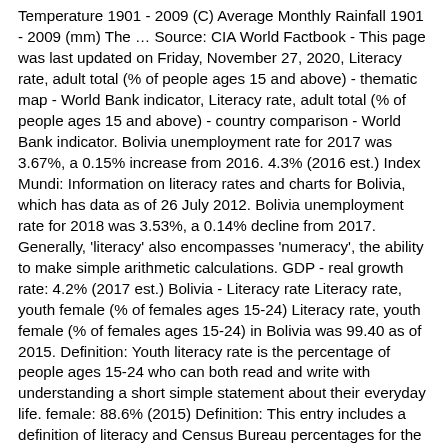Temperature 1901 - 2009 (C) Average Monthly Rainfall 1901 - 2009 (mm) The … Source: CIA World Factbook - This page was last updated on Friday, November 27, 2020, Literacy rate, adult total (% of people ages 15 and above) - thematic map - World Bank indicator, Literacy rate, adult total (% of people ages 15 and above) - country comparison - World Bank indicator. Bolivia unemployment rate for 2017 was 3.67%, a 0.15% increase from 2016. 4.3% (2016 est.) Index Mundi: Information on literacy rates and charts for Bolivia, which has data as of 26 July 2012. Bolivia unemployment rate for 2018 was 3.53%, a 0.14% decline from 2017. Generally, 'literacy' also encompasses 'numeracy', the ability to make simple arithmetic calculations. GDP - real growth rate: 4.2% (2017 est.) Bolivia - Literacy rate Literacy rate, youth female (% of females ages 15-24) Literacy rate, youth female (% of females ages 15-24) in Bolivia was 99.40 as of 2015. Definition: Youth literacy rate is the percentage of people ages 15-24 who can both read and write with understanding a short simple statement about their everyday life. female: 88.6% (2015) Definition: This entry includes a definition of literacy and Census Bureau percentages for the total population, males, and females. Globally, the youth literacy rate increased from 83 per cent to 91 per cent over two decades, while the number of illiterate youth declined from 170 million to 115 million. Bolivia. This is a list of countries by literacy rate.The figures represented are almost entirely … Percentage of secondary schools with access to the internet .